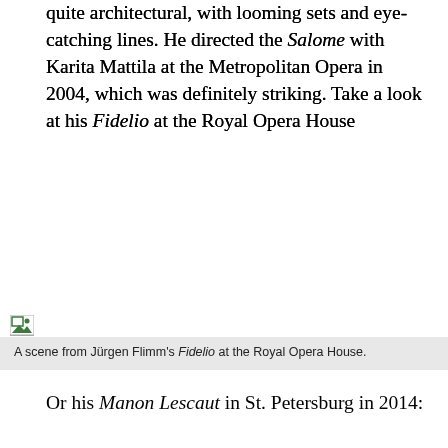quite architectural, with looming sets and eye-catching lines. He directed the Salome with Karita Mattila at the Metropolitan Opera in 2004, which was definitely striking. Take a look at his Fidelio at the Royal Opera House
[Figure (photo): Broken image placeholder for a scene from Jürgen Flimm's Fidelio at the Royal Opera House]
A scene from Jürgen Flimm's Fidelio at the Royal Opera House.
Or his Manon Lescaut in St. Petersburg in 2014:
[Figure (photo): Broken image placeholder for a scene from Manon Lescaut, directed by Jürgen Flimm, 2014]
A scene from Manon Lescaut, directed by Jürgen Flimm, 2014. Photo: mikhailovsky.ru.
While I always hope an opera production shows off the singers and the story, at the very least, I doubt this Flimm/Gehry Gluck project will be bland.